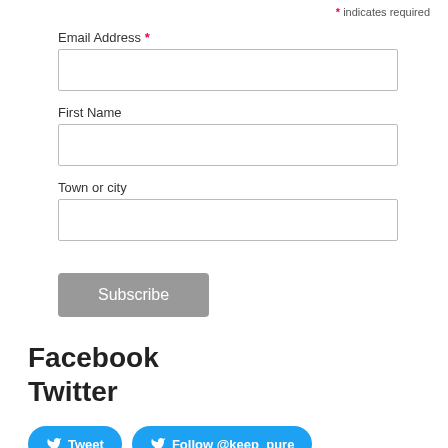* indicates required
Email Address *
First Name
Town or city
Subscribe
Facebook
Twitter
[Figure (other): Tweet button and Follow @keep_pure button in blue rounded rectangle style with Twitter bird icons]